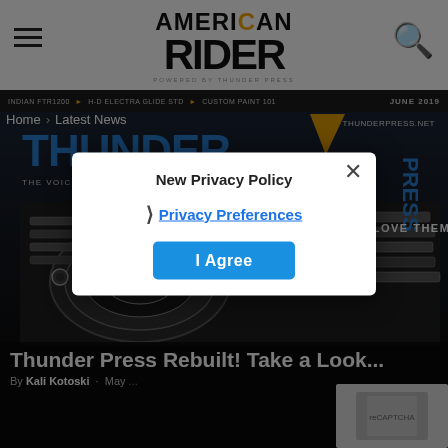American Rider — powered by Thunder Press
INDIAN FTR1200 ▶ H-D ELECTRA GLIDE STD ▶ CUSTOM PAINT 101 | JUNE 2019
Home › Latest News
[Figure (photo): Thunder Press magazine cover — June 2019. Large blue block text 'THUNDER PRESS' with lightning bolt graphic. Tagline 'THE VOICES OF THE AMERICAN BIKER COMMUNITY'. Close-up of chrome motorcycle engine parts with text overlay 'MACHINES AND WHY WE LOVE THEM...' Website: THUNDERPRESS.NET]
Thunder Press Rebuilt! Take a Look...
By Kali Kotoski · May ...
New Privacy Policy
Privacy Preferences
I Agree